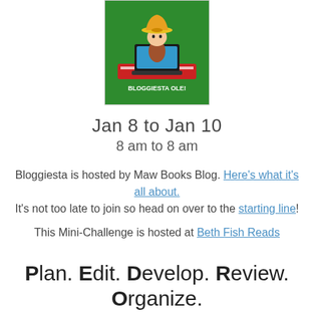[Figure (illustration): Bloggiesta Ole! logo: cartoon character in sombrero typing on laptop on top of a red book, green background with text BLOGGIESTA OLE!]
Jan 8 to Jan 10
8 am to 8 am
Bloggiesta is hosted by Maw Books Blog. Here's what it's all about.
It's not too late to join so head on over to the starting line!
This Mini-Challenge is hosted at Beth Fish Reads
Plan. Edit. Develop. Review. Organize.
You might not want to examine every post, but you really should think about the state of your